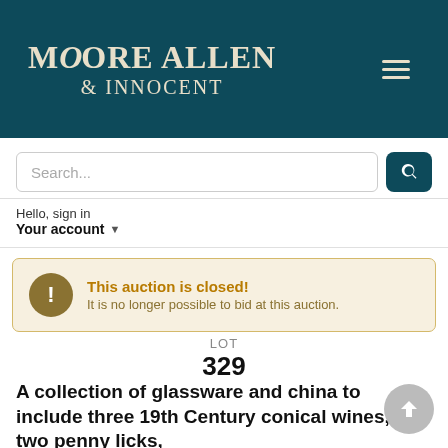Moore Allen & Innocent
Search...
Hello, sign in
Your account
This auction is closed! It is no longer possible to bid at this auction.
LOT
329
A collection of glassware and china to include three 19th Century conical wines, two penny licks,